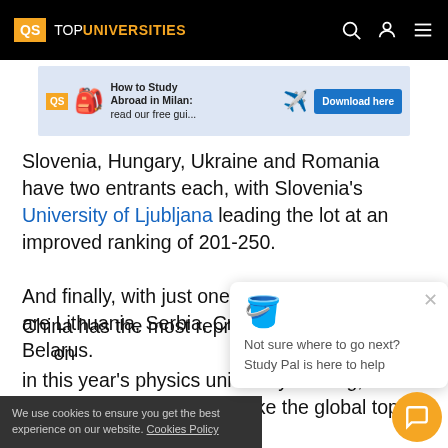QS TOP UNIVERSITIES
[Figure (infographic): QS ad banner: How to Study Abroad in Milan: read our free gui... with Download here button]
Slovenia, Hungary, Ukraine and Romania have two entrants each, with Slovenia's University of Ljubljana leading the lot at an improved ranking of 201-250.
And finally, with just one representative apiece are Lithuania, Serbia, Croatia and new entrant Belarus.
Not sure where to go next? Study Pal is here to help
We use cookies to ensure you get the best experience on our website. Cookies Policy
China has the most representatives of any Asian nation in this year's physics university ranking, with 30 institutions in total. Two make the global top 20, with